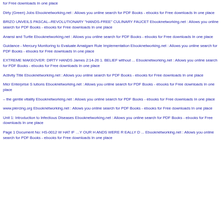for Free downloads In one place
Dirty (Green) Jobs Ebooknetworking.net : Allows you online search for PDF Books - ebooks for Free downloads In one place
BRIZO UNVEILS PASCAL--REVOLUTIONARY "HANDS-FREE" CULINARY FAUCET Ebooknetworking.net : Allows you online search for PDF Books - ebooks for Free downloads In one place
Anansi and Turtle Ebooknetworking.net : Allows you online search for PDF Books - ebooks for Free downloads In one place
Guidance - Mercury Monitoring to Evaluate Amalgam Rule Implementation Ebooknetworking.net : Allows you online search for PDF Books - ebooks for Free downloads In one place
EXTREME MAKEOVER: DIRTY HANDS James 2:14-26 1. BELIEF without ... Ebooknetworking.net : Allows you online search for PDF Books - ebooks for Free downloads In one place
Activity Title Ebooknetworking.net : Allows you online search for PDF Books - ebooks for Free downloads In one place
Micr Enterprise S lutions Ebooknetworking.net : Allows you online search for PDF Books - ebooks for Free downloads In one place
– the gentle vitality Ebooknetworking.net : Allows you online search for PDF Books - ebooks for Free downloads In one place
www.piercing.org Ebooknetworking.net : Allows you online search for PDF Books - ebooks for Free downloads In one place
Unit 1: Introduction to Infectious Diseases Ebooknetworking.net : Allows you online search for PDF Books - ebooks for Free downloads In one place
Page 1 Document No: HS-0012 W HAT IF …Y OUR H ANDS WERE R EALLY D ... Ebooknetworking.net : Allows you online search for PDF Books - ebooks for Free downloads In one place